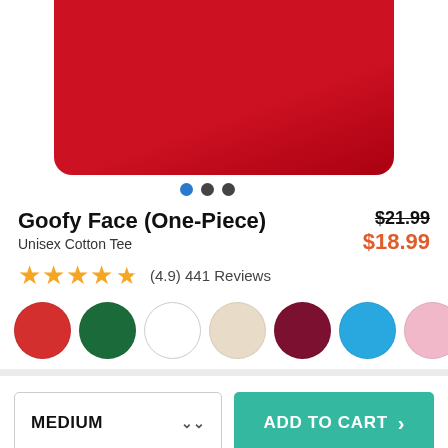[Figure (photo): Red t-shirt product photo, partially cropped showing the upper fabric portion]
Goofy Face (One-Piece)
Unisex Cotton Tee
$21.99 (original price, crossed out) $18.99 (sale price)
(4.9) 441 Reviews
MEDIUM - ADD TO CART
Also Available On